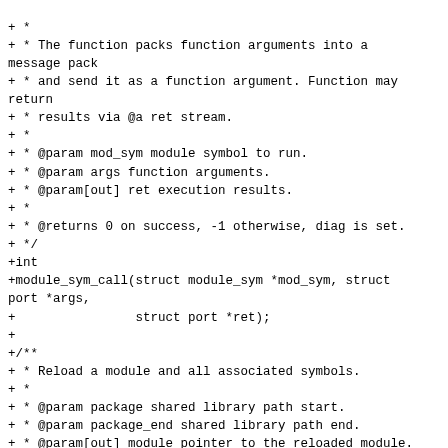+ *
+ * The function packs function arguments into a message pack
+ * and send it as a function argument. Function may return
+ * results via @a ret stream.
+ *
+ * @param mod_sym module symbol to run.
+ * @param args function arguments.
+ * @param[out] ret execution results.
+ *
+ * @returns 0 on success, -1 otherwise, diag is set.
+ */
+int
+module_sym_call(struct module_sym *mod_sym, struct port *args,
+                struct port *ret);
+
+/**
+ * Reload a module and all associated symbols.
+ *
+ * @param package shared library path start.
+ * @param package_end shared library path end.
+ * @param[out] module pointer to the reloaded module.
+ *
+ * @return 0 on succes, -1 otherwise, diag is set.
+ */
+int
+module_reload(const char *package, const char *package_end,